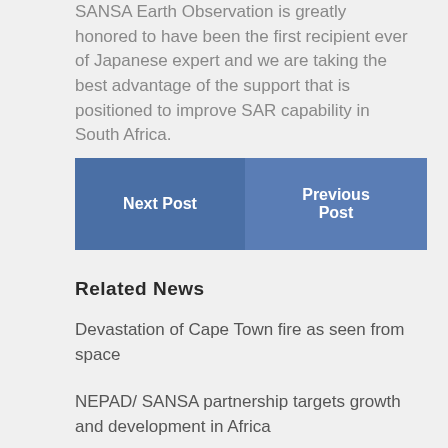SANSA Earth Observation is greatly honored to have been the first recipient ever of Japanese expert and we are taking the best advantage of the support that is positioned to improve SAR capability in South Africa.
Next Post
Previous Post
Related News
Devastation of Cape Town fire as seen from space
NEPAD/ SANSA partnership targets growth and development in Africa